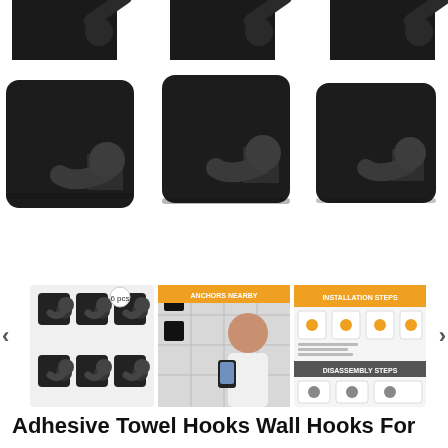[Figure (photo): Top row of three partially-visible black adhesive towel hooks on white background]
[Figure (photo): Middle row of three large black adhesive towel hooks, square base with cylindrical peg, on white background]
[Figure (photo): Bottom gallery row with three thumbnail images: left shows 6 black hooks in a set; center shows woman in bathroom holding phone with hooks on tile wall; right shows installation/disassembly instruction steps diagram with orange header]
Adhesive Towel Hooks Wall Hooks For